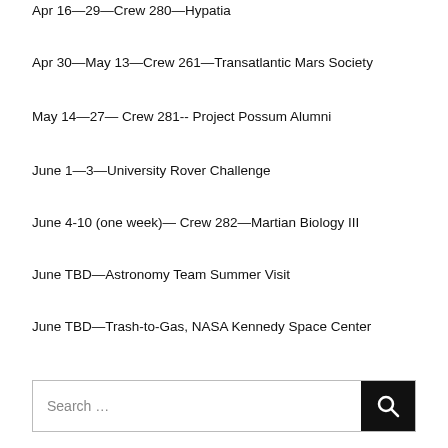Apr 16—29—Crew 280—Hypatia
Apr 30—May 13—Crew 261—Transatlantic Mars Society
May 14—27— Crew 281-- Project Possum Alumni
June 1—3—University Rover Challenge
June 4-10 (one week)— Crew 282—Martian Biology III
June TBD—Astronomy Team Summer Visit
June TBD—Trash-to-Gas, NASA Kennedy Space Center